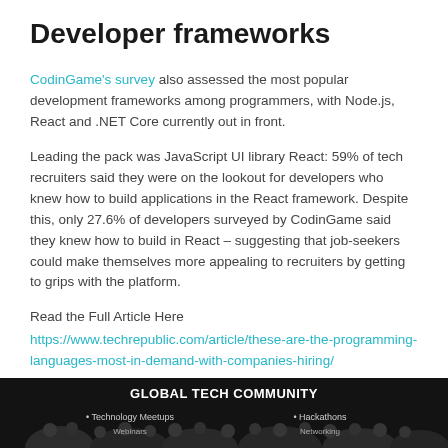Developer frameworks
CodinGame's survey also assessed the most popular development frameworks among programmers, with Node.js, React and .NET Core currently out in front.
Leading the pack was JavaScript UI library React: 59% of tech recruiters said they were on the lookout for developers who knew how to build applications in the React framework. Despite this, only 27.6% of developers surveyed by CodinGame said they knew how to build in React – suggesting that job-seekers could make themselves more appealing to recruiters by getting to grips with the platform.
Read the Full Article Here
https://www.techrepublic.com/article/these-are-the-programming-languages-most-in-demand-with-companies-hiring/
[Figure (photo): Banner image for Global Tech Community showing a crowd of people with text overlays: GLOBAL TECH COMMUNITY, Technology Meetups, Hackathons]